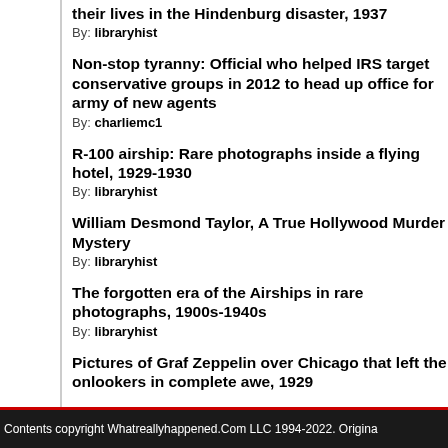their lives in the Hindenburg disaster, 1937
By: libraryhist
Non-stop tyranny: Official who helped IRS target conservative groups in 2012 to head up office for army of new agents
By: charliemc1
R-100 airship: Rare photographs inside a flying hotel, 1929-1930
By: libraryhist
William Desmond Taylor, A True Hollywood Murder Mystery
By: libraryhist
The forgotten era of the Airships in rare photographs, 1900s-1940s
By: libraryhist
Pictures of Graf Zeppelin over Chicago that left the onlookers in complete awe, 1929
Contents copyright Whatreallyhappened.Com LLC 1994-2022. Origina